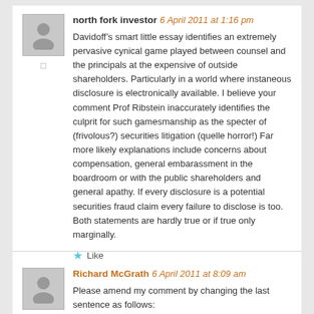north fork investor 6 April 2011 at 1:16 pm
Davidoff’s smart little essay identifies an extremely pervasive cynical game played between counsel and the principals at the expensive of outside shareholders. Particularly in a world where instaneous disclosure is electronically available. I believe your comment Prof Ribstein inaccurately identifies the culprit for such gamesmanship as the specter of (frivolous?) securities litigation (quelle horror!) Far more likely explanations include concerns about compensation, general embarassment in the boardroom or with the public shareholders and general apathy. If every disclosure is a potential securities fraud claim every failure to disclose is too. Both statements are hardly true or if true only marginally.
Like
Richard McGrath 6 April 2011 at 8:09 am
Please amend my comment by changing the last sentence as follows: